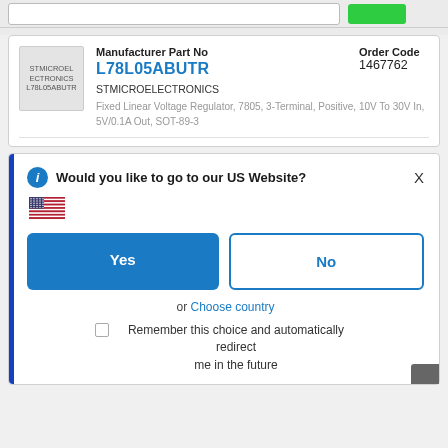[Figure (screenshot): Top navigation bar with search input and green add button]
Manufacturer Part No
L78L05ABUTR
Order Code
1467762
STMICROELECTRONICS
Fixed Linear Voltage Regulator, 7805, 3-Terminal, Positive, 10V To 30V In, 5V/0.1A Out, SOT-89-3
Would you like to go to our US Website?
Yes
No
or Choose country
Remember this choice and automatically redirect me in the future